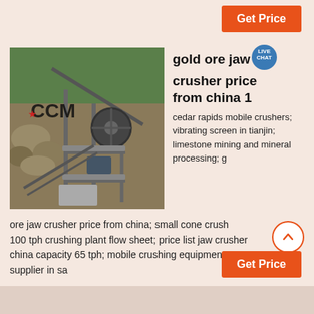Get Price
[Figure (photo): Industrial jaw crusher / mining processing plant setup outdoors with rocks, machinery, steel structure and trees in background. CCM logo visible on image.]
gold ore jaw crusher price from china 1
cedar rapids mobile crushers; vibrating screen in tianjin; limestone mining and mineral processing; g ore jaw crusher price from china; small cone crush 100 tph crushing plant flow sheet; price list jaw crusher china capacity 65 tph; mobile crushing equipment supplier in sa
Get Price